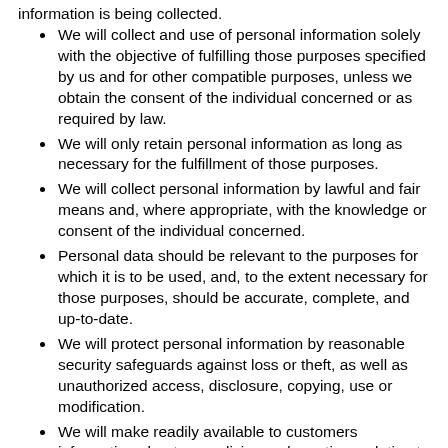information is being collected.
We will collect and use of personal information solely with the objective of fulfilling those purposes specified by us and for other compatible purposes, unless we obtain the consent of the individual concerned or as required by law.
We will only retain personal information as long as necessary for the fulfillment of those purposes.
We will collect personal information by lawful and fair means and, where appropriate, with the knowledge or consent of the individual concerned.
Personal data should be relevant to the purposes for which it is to be used, and, to the extent necessary for those purposes, should be accurate, complete, and up-to-date.
We will protect personal information by reasonable security safeguards against loss or theft, as well as unauthorized access, disclosure, copying, use or modification.
We will make readily available to customers information about our policies and practices relating to the management of personal information.
We are committed to conducting our business in accordance with these principles in order to ensure that